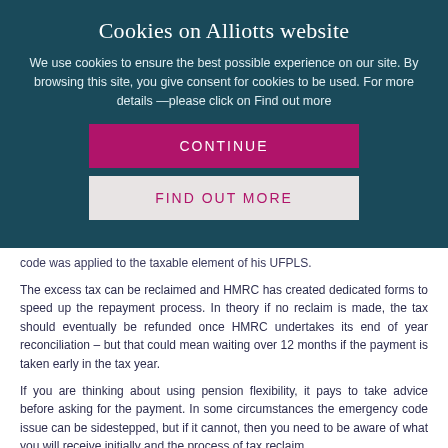Cookies on Alliotts website
We use cookies to ensure the best possible experience on our site. By browsing this site, you give consent for cookies to be used. For more details —please click on Find out more
CONTINUE
FIND OUT MORE
code was applied to the taxable element of his UFPLS.
The excess tax can be reclaimed and HMRC has created dedicated forms to speed up the repayment process. In theory if no reclaim is made, the tax should eventually be refunded once HMRC undertakes its end of year reconciliation – but that could mean waiting over 12 months if the payment is taken early in the tax year.
If you are thinking about using pension flexibility, it pays to take advice before asking for the payment. In some circumstances the emergency code issue can be sidestepped, but if it cannot, then you need to be aware of what you will receive initially and the process of tax reclaim.